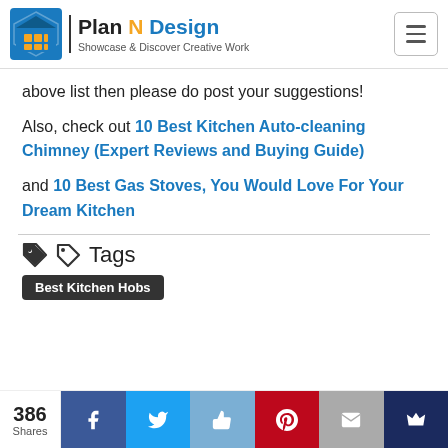Plan N Design — Showcase & Discover Creative Work
above list then please do post your suggestions!
Also, check out 10 Best Kitchen Auto-cleaning Chimney (Expert Reviews and Buying Guide)
and 10 Best Gas Stoves, You Would Love For Your Dream Kitchen
Tags
Best Kitchen Hobs
386 Shares — social share bar (Facebook, Twitter, Like, Pinterest, Mail, Crown)